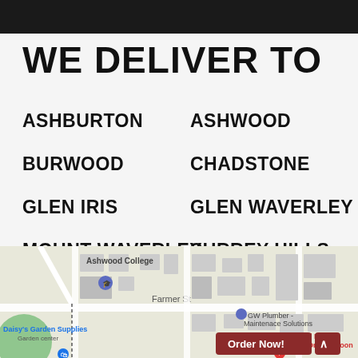WE DELIVER TO
ASHBURTON
ASHWOOD
BURWOOD
CHADSTONE
GLEN IRIS
GLEN WAVERLEY
MOUNT WAVERLEY
SURREY HILLS
[Figure (map): Google Maps street map showing Ashwood College area with Farmer St, Daisy's Garden Supplies, GW Plumber - Maintenace Solutions, Ashwood Family Dental - Dr. Ted Moon. An Order Now! button and scroll-up button overlay the map.]